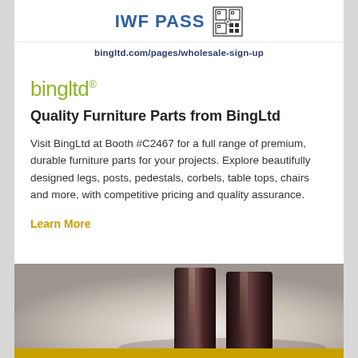IWF PASS
bingltd.com/pages/wholesale-sign-up
bingltd®
Quality Furniture Parts from BingLtd
Visit BingLtd at Booth #C2467 for a full range of premium, durable furniture parts for your projects. Explore beautifully designed legs, posts, pedestals, corbels, table tops, chairs and more, with competitive pricing and quality assurance.
Learn More
[Figure (photo): Two dark furniture legs/posts standing on a surface with soft light background]